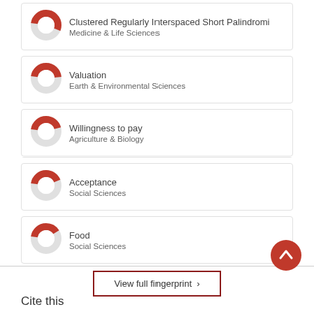Clustered Regularly Interspaced Short Palindromi | Medicine & Life Sciences
Valuation | Earth & Environmental Sciences
Willingness to pay | Agriculture & Biology
Acceptance | Social Sciences
Food | Social Sciences
View full fingerprint >
Cite this